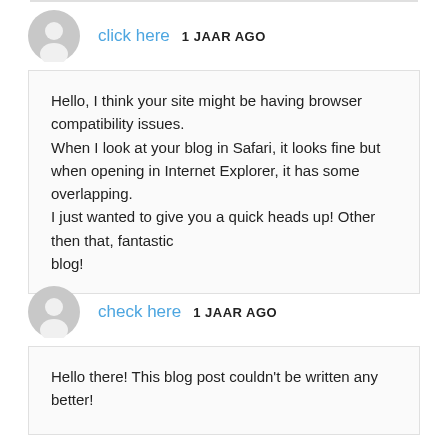click here   1 JAAR AGO
Hello, I think your site might be having browser compatibility issues.
When I look at your blog in Safari, it looks fine but when opening in Internet Explorer, it has some overlapping.
I just wanted to give you a quick heads up! Other then that, fantastic
blog!
check here   1 JAAR AGO
Hello there! This blog post couldn't be written any better!